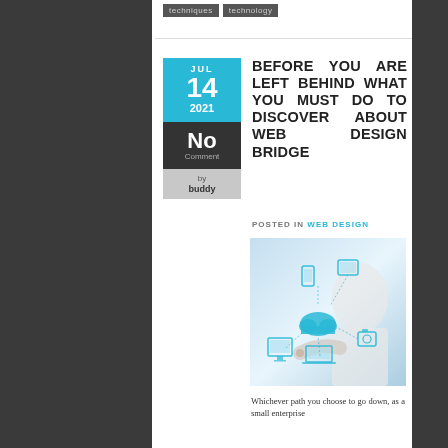techniques  technology
BEFORE YOU ARE LEFT BEHIND WHAT YOU MUST DO TO DISCOVER ABOUT WEB DESIGN BRIDGE
POSTED IN WEB DESIGN
[Figure (photo): Person pointing at cloud computing network diagram with connected devices including phone, tablet, desktop, laptop and camera icons]
Whichever path you choose to go down, as a small enterprise